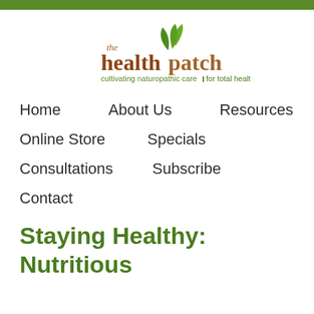[Figure (logo): The Health Patch logo with green leaves and brown text reading 'the healthpatch' and tagline 'cultivating naturopathic care for total health']
Home
About Us
Resources
Online Store
Specials
Consultations
Subscribe
Contact
Staying Healthy: Nutritious